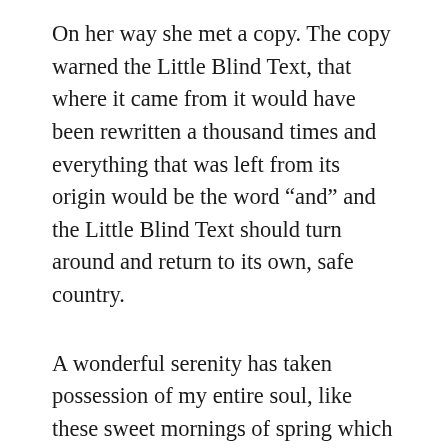On her way she met a copy. The copy warned the Little Blind Text, that where it came from it would have been rewritten a thousand times and everything that was left from its origin would be the word “and” and the Little Blind Text should turn around and return to its own, safe country.
A wonderful serenity has taken possession of my entire soul, like these sweet mornings of spring which I enjoy with my whole heart. I am alone, and feel the charm of existence in this spot, which was created for the bliss of souls like mine. I am so happy, my dear